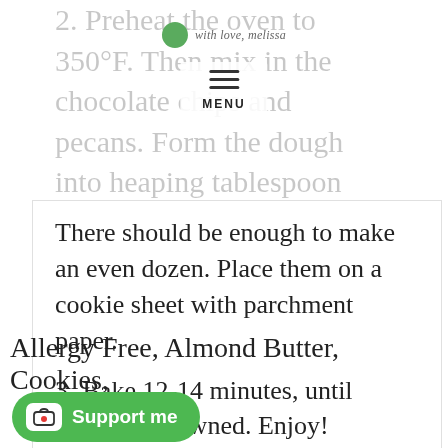2. Preheat the oven to 350°F. Then mix in the chocolate chips and pecans. Form the dough into heaping tablespoon size balls.
[Figure (screenshot): Website navigation overlay showing a green circular logo with 'with love, melissa' text and a hamburger menu icon with 'MENU' label]
There should be enough to make an even dozen. Place them on a cookie sheet with parchment paper.
3. Bake 12-14 minutes, until barely browned. Enjoy!
[Figure (screenshot): Search icon with horizontal divider lines and KEYWORD label]
Allergy Free, Almond Butter, Cookies,
[Figure (screenshot): Support me button - green pill-shaped button with Ko-fi cup icon and 'Support me' text]